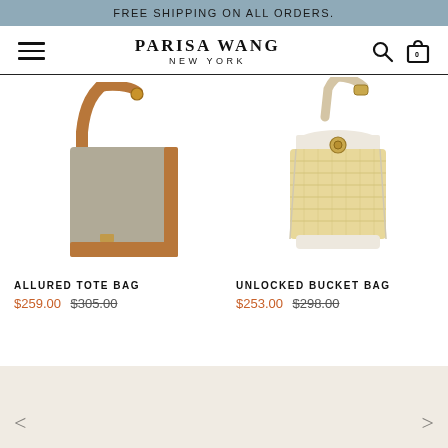FREE SHIPPING ON ALL ORDERS.
[Figure (logo): Parisa Wang New York logo with hamburger menu, search icon, and bag icon navigation]
[Figure (photo): Allured Tote Bag - grey/taupe crossbody bag with tan leather strap and tan leather side trim]
ALLURED TOTE BAG
$259.00  $305.00
[Figure (photo): Unlocked Bucket Bag - cream/ivory bucket bag with woven straw body, cream leather trim, and long strap]
UNLOCKED BUCKET BAG
$253.00  $298.00